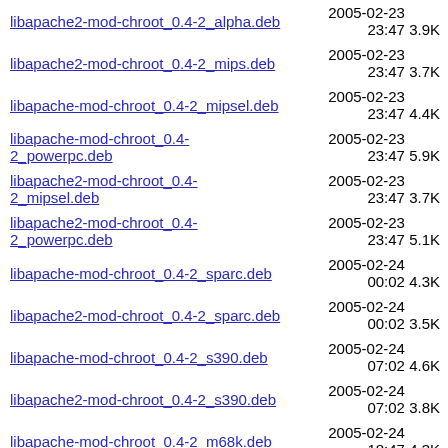libapache2-mod-chroot_0.4-2_alpha.deb  2005-02-23 23:47  3.9K
libapache2-mod-chroot_0.4-2_mips.deb  2005-02-23 23:47  3.7K
libapache-mod-chroot_0.4-2_mipsel.deb  2005-02-23 23:47  4.4K
libapache-mod-chroot_0.4-2_powerpc.deb  2005-02-23 23:47  5.9K
libapache2-mod-chroot_0.4-2_mipsel.deb  2005-02-23 23:47  3.7K
libapache2-mod-chroot_0.4-2_powerpc.deb  2005-02-23 23:47  5.1K
libapache-mod-chroot_0.4-2_sparc.deb  2005-02-24 00:02  4.3K
libapache2-mod-chroot_0.4-2_sparc.deb  2005-02-24 00:02  3.5K
libapache-mod-chroot_0.4-2_s390.deb  2005-02-24 07:02  4.6K
libapache2-mod-chroot_0.4-2_s390.deb  2005-02-24 07:02  3.8K
libapache-mod-chroot_0.4-2_m68k.deb  2005-02-24 18:47  4.3K